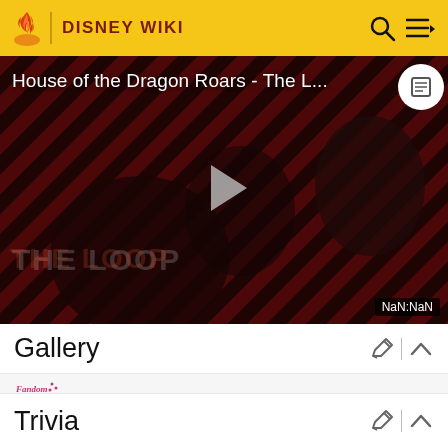DISNEY WIKI
[Figure (screenshot): Video thumbnail for 'House of the Dragon Roars - The L...' showing two figures in dark lighting with a diagonal red and black striped background, THE LOOP text overlay, a play button in the center, and a NaN:NaN timestamp badge in the bottom right.]
Gallery
[Figure (logo): Small Fandom wiki logo icon]
Trivia